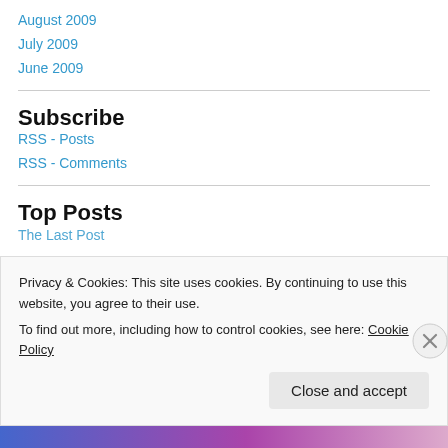August 2009
July 2009
June 2009
Subscribe
RSS - Posts
RSS - Comments
Top Posts
The Last Post
Privacy & Cookies: This site uses cookies. By continuing to use this website, you agree to their use.
To find out more, including how to control cookies, see here: Cookie Policy